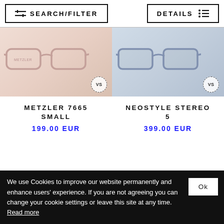SEARCH/FILTER | DETAILS
[Figure (photo): Product image of Metzler 7665 Small eyeglasses frames with pink/rose gold tones on light background, with VS badge watermark]
[Figure (photo): Product image of Neostyle Stereo 5 eyeglasses frames with blue/grey patterned tones on light background, with VS badge watermark]
METZLER 7665 SMALL
199.00 EUR
NEOSTYLE STEREO 5
399.00 EUR
We use Cookies to improve our website permanently and enhance users' experience. If you are not agreeing you can change your cookie settings or leave this site at any time. Read more